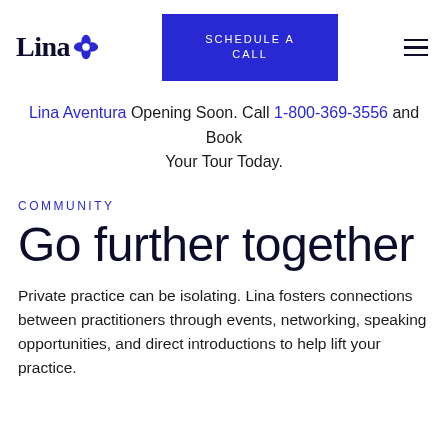Lina [logo] | SCHEDULE A CALL | ☰
Lina Aventura Opening Soon. Call 1-800-369-3556 and Book Your Tour Today.
COMMUNITY
Go further together
Private practice can be isolating. Lina fosters connections between practitioners through events, networking, speaking opportunities, and direct introductions to help lift your practice.